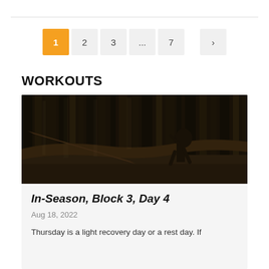[Figure (other): Pagination navigation bar with page buttons: 1 (active/orange), 2, 3, ..., 7, and a next arrow >]
WORKOUTS
[Figure (photo): Dark moody forest photo of a trail runner/hiker climbing over a log among tall trees]
In-Season, Block 3, Day 4
Aug 18, 2022
Thursday is a light recovery day or a rest day. If